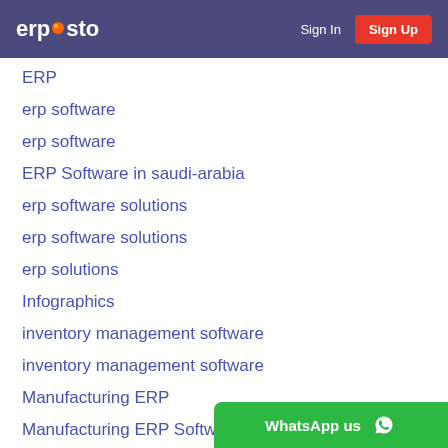erposto | Sign In | Sign Up
ERP
erp software
erp software
ERP Software in saudi-arabia
erp software solutions
erp software solutions
erp solutions
Infographics
inventory management software
inventory management software
Manufacturing ERP
Manufacturing ERP Software
Manufacturing ERP Software in saudi-arabia